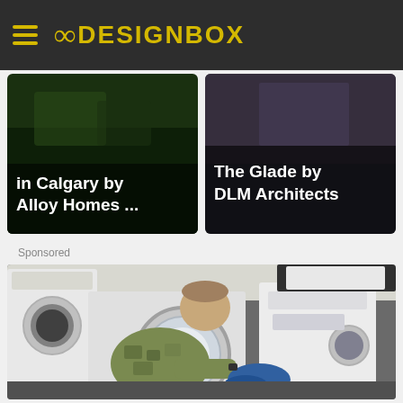8DESIGNBOX
[Figure (photo): Card showing 'in Calgary by Alloy Homes ...' with dark green/garden background]
[Figure (photo): Card showing 'The Glade by DLM Architects' with interior/dark background]
Sponsored
[Figure (photo): Person in military/camouflage uniform loading laundry into a front-load washing machine in a laundry room with multiple white appliances]